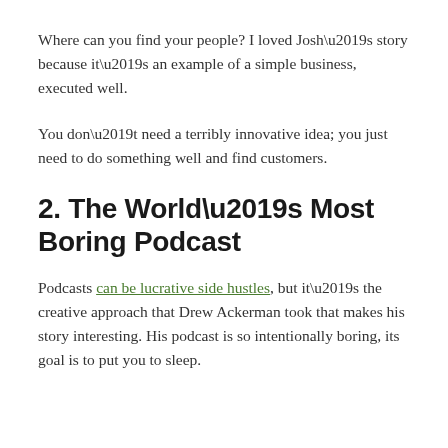Where can you find your people? I loved Josh’s story because it’s an example of a simple business, executed well.
You don’t need a terribly innovative idea; you just need to do something well and find customers.
2. The World’s Most Boring Podcast
Podcasts can be lucrative side hustles, but it’s the creative approach that Drew Ackerman took that makes his story interesting. His podcast is so intentionally boring, its goal is to put you to sleep.